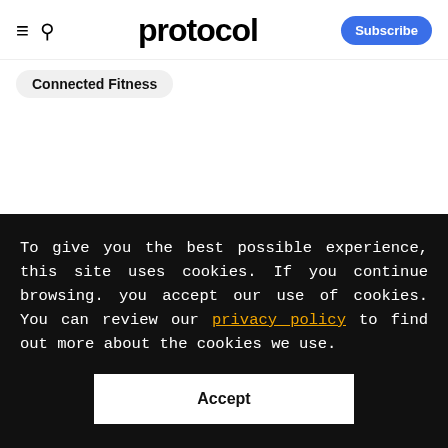protocol — Subscribe
Connected Fitness
SPONSORED CONTENT
Why freelance workers
To give you the best possible experience, this site uses cookies. If you continue browsing. you accept our use of cookies. You can review our privacy policy to find out more about the cookies we use.
Accept